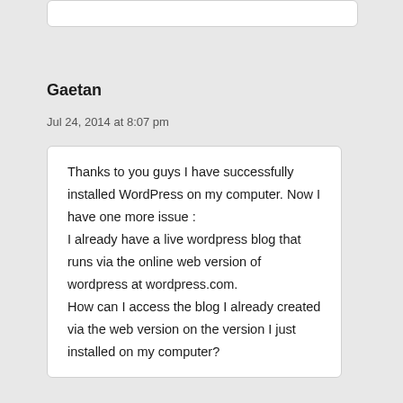Gaetan
Jul 24, 2014 at 8:07 pm
Thanks to you guys I have successfully installed WordPress on my computer. Now I have one more issue :
I already have a live wordpress blog that runs via the online web version of wordpress at wordpress.com.
How can I access the blog I already created via the web version on the version I just installed on my computer?